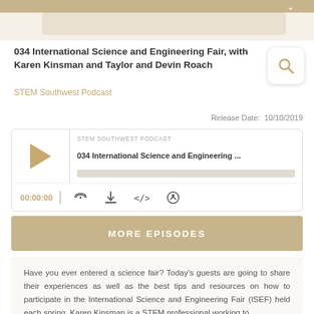034 International Science and Engineering Fair, with Karen Kinsman and Taylor and Devin Roach
STEM Southwest Podcast
Release Date: 10/10/2019
[Figure (screenshot): Podcast player widget showing STEM SOUTHWEST PODCAST, episode '034 International Science and Engineering Fair and Engineering ...' with play button, progress bar, time 00:00:00, and icons for RSS, download, embed, and share]
MORE EPISODES
Have you ever entered a science fair? Today's guests are going to share their experiences as well as the best tips and resources on how to participate in the International Science and Engineering Fair (ISEF) held each spring. Karen Kinsman is a STEM professional working to